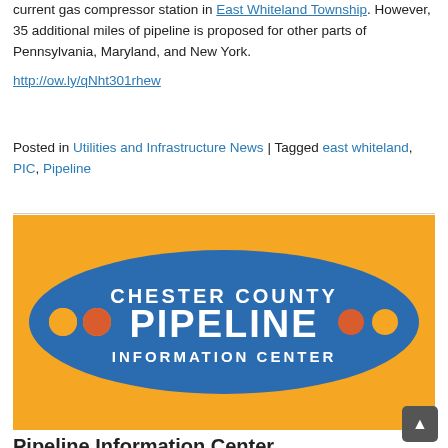current gas compressor station in East Whiteland Township. However, 35 additional miles of pipeline is proposed for other parts of Pennsylvania, Maryland, and New York.
http://ow.ly/qNht301rhew
Posted in Utilities and Infrastructure News | Tagged east whiteland, PIC, Pipeline
[Figure (logo): Chester County Pipeline Information Center logo — orange rectangular background with a blue ellipse/oval in the center containing the text 'CHESTER COUNTY PIPELINE INFORMATION CENTER' in white bold letters, with orange and red dot decorations on left and right sides of the oval.]
Pipeline Information Center